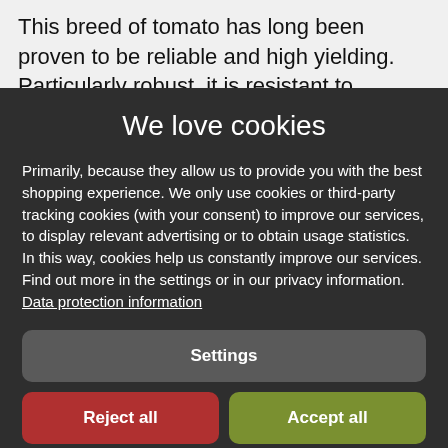This breed of tomato has long been proven to be reliable and high yielding. Particularly robust, it is resistant to
We love cookies
Primarily, because they allow us to provide you with the best shopping experience. We only use cookies or third-party tracking cookies (with your consent) to improve our services, to display relevant advertising or to obtain usage statistics. In this way, cookies help us constantly improve our services. Find out more in the settings or in our privacy information. Data protection information
Settings
Reject all
Accept all